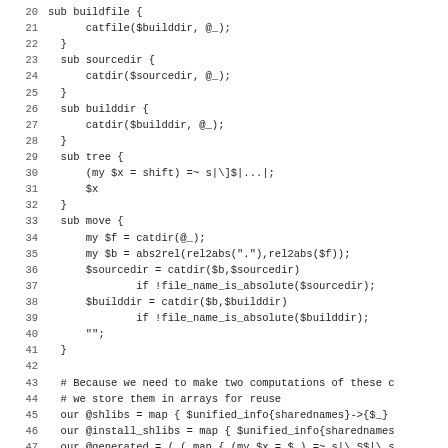Source code listing lines 20-51, Perl code showing subroutine definitions (buildfile, sourcedir, builddir, tree, move) and array initialization statements.